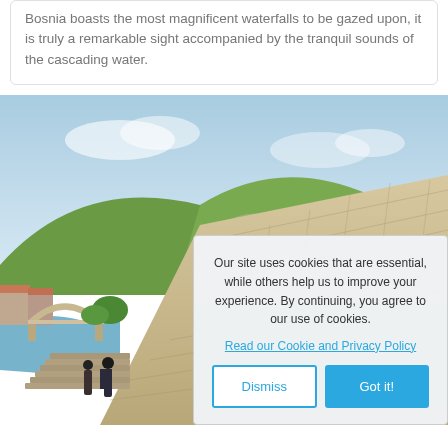Bosnia boasts the most magnificent waterfalls to be gazed upon, it is truly a remarkable sight accompanied by the tranquil sounds of the cascading water.
[Figure (photo): Outdoor scene showing green rocky hills/mountains in the background, a stone-tile rooftop in the foreground-right, and a historic arched bridge (Stari Most, Mostar) visible in the lower-left with two people standing on stone steps near the river.]
Our site uses cookies that are essential, while others help us to improve your experience. By continuing, you agree to our use of cookies.
Read our Cookie and Privacy Policy
Dismiss
Got it!